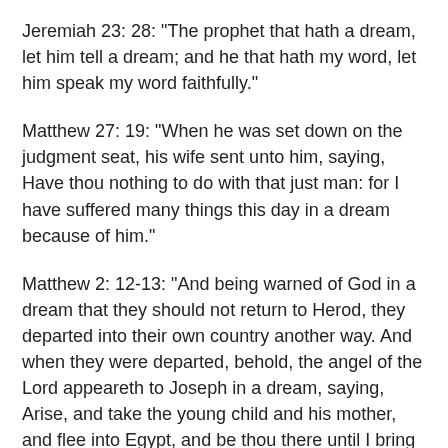Jeremiah 23: 28:  “The prophet that hath a dream, let him tell a dream; and he that hath my word, let him speak my word faithfully.”
Matthew 27: 19:  “When he was set down on the judgment seat, his wife sent unto him, saying, Have thou nothing to do with that just man: for I have suffered many things this day in a dream because of him.”
Matthew 2: 12-13:  “And being warned of God in a dream that they should not return to Herod, they departed into their own country another way.  And when they were departed, behold, the angel of the Lord appeareth to Joseph in a dream, saying, Arise, and take the young child and his mother, and flee into Egypt, and be thou there until I bring thee word: for Herod will seek the young child to destroy him.”